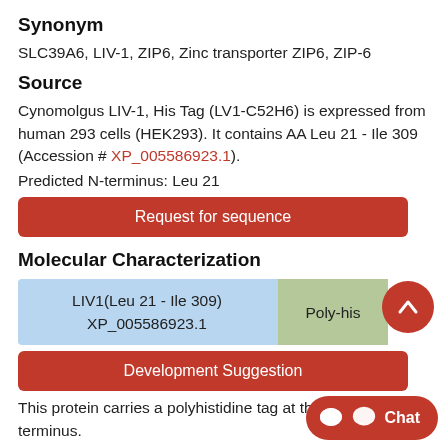Synonym
SLC39A6, LIV-1, ZIP6, Zinc transporter ZIP6, ZIP-6
Source
Cynomolgus LIV-1, His Tag (LV1-C52H6) is expressed from human 293 cells (HEK293). It contains AA Leu 21 - Ile 309 (Accession # XP_005586923.1).
Predicted N-terminus: Leu 21
Request for sequence
Molecular Characterization
[Figure (infographic): Protein domain diagram showing LIV1(Leu 21 - Ile 309) XP_005586923.1 in blue and Poly-his tag in green]
Development Suggestion
This protein carries a polyhistidine tag at the C-terminus.